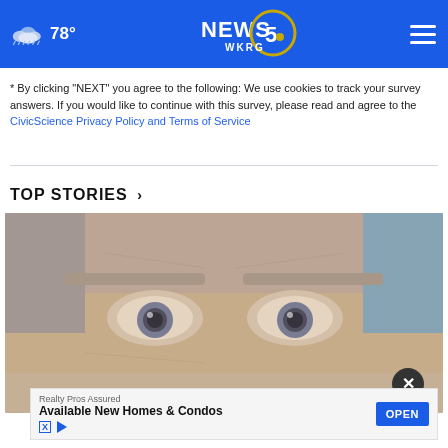78° NEWS 5 WKRG
* By clicking "NEXT" you agree to the following: We use cookies to track your survey answers. If you would like to continue with this survey, please read and agree to the CivicScience Privacy Policy and Terms of Service
TOP STORIES ›
[Figure (photo): Close-up photo of an elderly person's face showing eyes and forehead]
[Figure (screenshot): Advertisement overlay: Realty Pros Assured - Available New Homes & Condos - OPEN button]